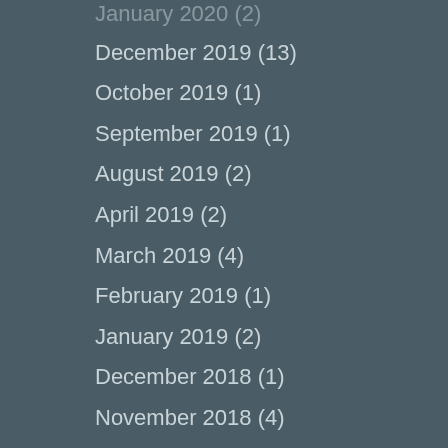January 2020 (2)
December 2019 (13)
October 2019 (1)
September 2019 (1)
August 2019 (2)
April 2019 (2)
March 2019 (4)
February 2019 (1)
January 2019 (2)
December 2018 (1)
November 2018 (4)
October 2018 (2)
September 2018 (2)
August 2018 (4)
July 2018 (4)
June 2018 (5)